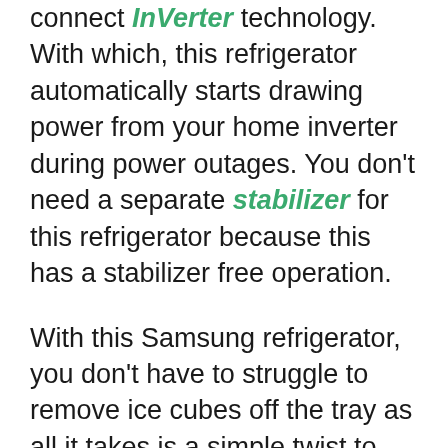connect InVerter technology. With which, this refrigerator automatically starts drawing power from your home inverter during power outages. You don't need a separate stabilizer for this refrigerator because this has a stabilizer free operation.
With this Samsung refrigerator, you don't have to struggle to remove ice cubes off the tray as all it takes is a simple twist to dispense the ice cubes. This refrigerator looks very elegant as it doesn't have any solid handle. The hidden hinge handle provides this fridge with a premium look.